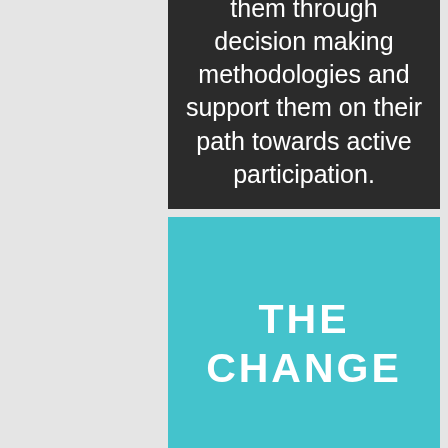them through decision making methodologies and support them on their path towards active participation.
THE CHANGE
Young people are equipped with clear ideas of:
social entrepreneurship
idea